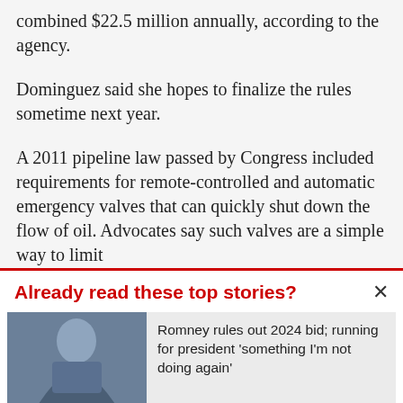combined $22.5 million annually, according to the agency.
Dominguez said she hopes to finalize the rules sometime next year.
A 2011 pipeline law passed by Congress included requirements for remote-controlled and automatic emergency valves that can quickly shut down the flow of oil. Advocates say such valves are a simple way to limit
Already read these top stories?
Romney rules out 2024 bid; running for president 'something I'm not doing again'